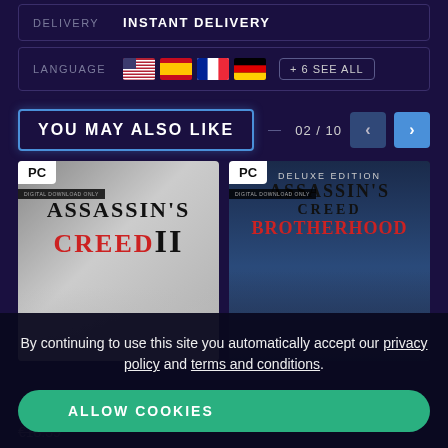DELIVERY: INSTANT DELIVERY
LANGUAGE: 🇺🇸 🇪🇸 🇫🇷 🇩🇪 + 6 SEE ALL
YOU MAY ALSO LIKE 02 / 10
[Figure (screenshot): Assassin's Creed II PC game cover art - white/grey background with hooded figure, PC badge top left, DIGITAL DOWNLOAD ONLY text]
[Figure (screenshot): Assassin's Creed Brotherhood Deluxe Edition PC game cover art - dark blue background with hooded figure in red cloak, PC badge top left]
By continuing to use this site you automatically accept our privacy policy and terms and conditions.
ALLOW COOKIES
€18.39